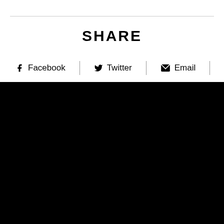SHARE
Facebook  Twitter  Email